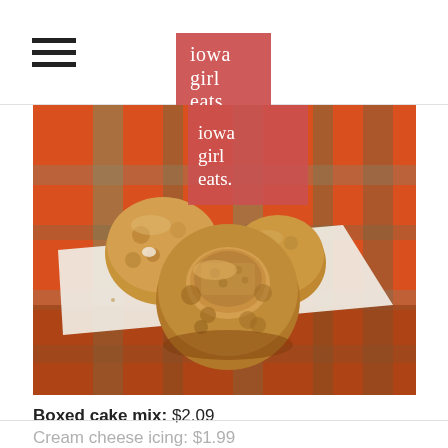iowa girl eats.
[Figure (photo): Close-up photo of cake mix balls/truffles on a white napkin over an orange and green plaid tablecloth. The front truffle is bitten into, revealing the interior texture.]
Boxed cake mix: $2.09
Cream cheese icing: $1.99